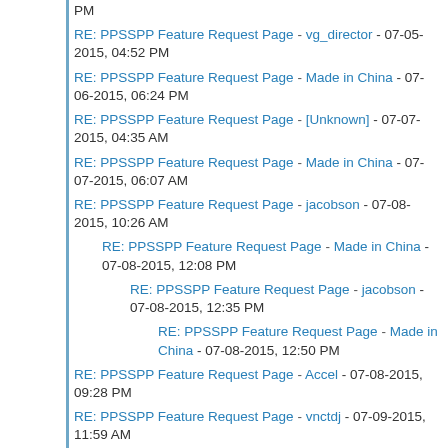RE: PPSSPP Feature Request Page - vg_director - 07-05-2015, 04:52 PM
RE: PPSSPP Feature Request Page - Made in China - 07-06-2015, 06:24 PM
RE: PPSSPP Feature Request Page - [Unknown] - 07-07-2015, 04:35 AM
RE: PPSSPP Feature Request Page - Made in China - 07-07-2015, 06:07 AM
RE: PPSSPP Feature Request Page - jacobson - 07-08-2015, 10:26 AM
RE: PPSSPP Feature Request Page - Made in China - 07-08-2015, 12:08 PM
RE: PPSSPP Feature Request Page - jacobson - 07-08-2015, 12:35 PM
RE: PPSSPP Feature Request Page - Made in China - 07-08-2015, 12:50 PM
RE: PPSSPP Feature Request Page - Accel - 07-08-2015, 09:28 PM
RE: PPSSPP Feature Request Page - vnctdj - 07-09-2015, 11:59 AM
RE: PPSSPP Feature Request Page - vnctdj - 07-09-2015, 02:17 PM
RE: PPSSPP Feature Request Page - heringer - 07-09-2015, 03:21 PM
RE: PPSSPP Feature Request Page - kurayami - 07-17-2015, 04:16 PM
RE: PPSSPP Feature Request Page - JacRoSli - 07-01-2015, 03:48 ...